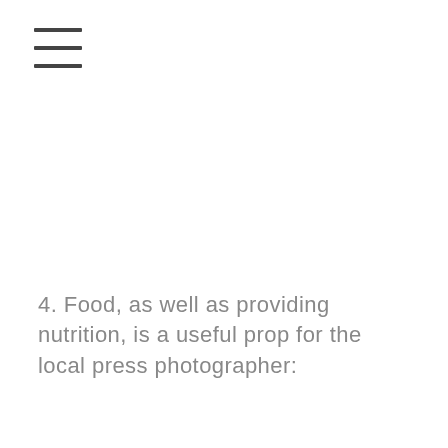[Figure (other): Hamburger menu icon with three horizontal lines]
4. Food, as well as providing nutrition, is a useful prop for the local press photographer: